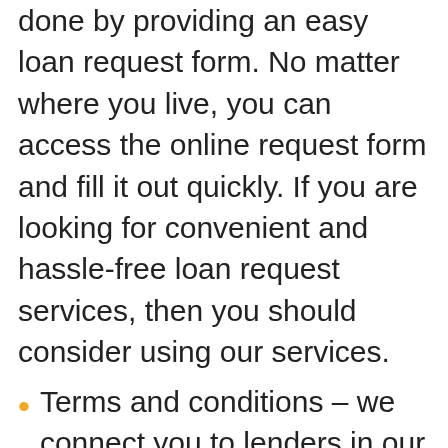done by providing an easy loan request form. No matter where you live, you can access the online request form and fill it out quickly. If you are looking for convenient and hassle-free loan request services, then you should consider using our services.
Terms and conditions – we connect you to lenders in our network who will provide all the information you need about the loan. You should read the terms and conditions provided by your lender. This way you will have all the necessary information to make a sound financial judgment. The rates offered are competitive and therefore you will get an affordable loan.